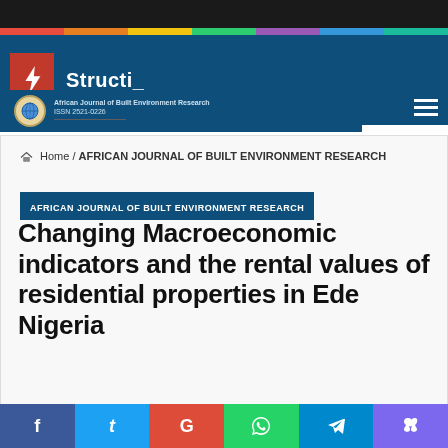Structi_
African Journal of Built Environment Research ISSN 2521-0226
Home / AFRICAN JOURNAL OF BUILT ENVIRONMENT RESEARCH
AFRICAN JOURNAL OF BUILT ENVIRONMENT RESEARCH
Changing Macroeconomic indicators and the rental values of residential properties in Ede Nigeria